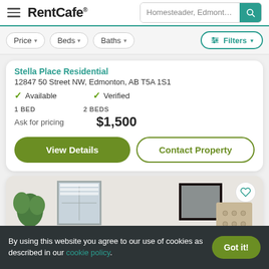RentCafe | Homesteader, Edmonton, [search]
Price ▾  Beds ▾  Baths ▾  Filters ▾
Stella Place Residential
12847 50 Street NW, Edmonton, AB T5A 1S1
✓ Available    ✓ Verified
1 BED
Ask for pricing
2 BEDS
$1,500
View Details    Contact Property
[Figure (photo): Interior photo of an apartment room showing a plant, window with blinds, a framed art piece, and a tufted headboard]
By using this website you agree to our use of cookies as described in our cookie policy.    Got it!